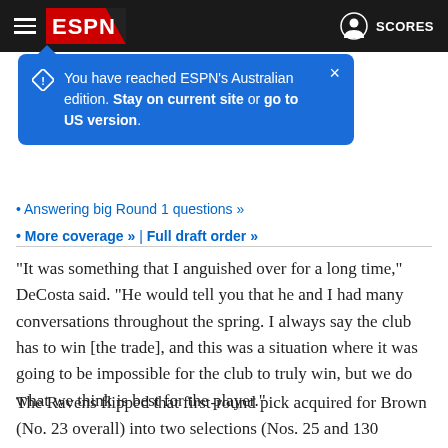ESPN (navigation bar with hamburger menu, ESPN logo, user icon, SCORES)
[Figure (screenshot): ESPN Australian edition tooltip popup: 'You have reached ESPN's Australian edition. Stay on current site or go to US version.']
Answering big Round 1 questions »
More coverage » | Full draft order »
“It was something that I anguished over for a long time,” DeCosta said. "He would tell you that he and I had many conversations throughout the spring. I always say the club has to win [the trade], and this was a situation where it was going to be impossible for the club to truly win, but we do what we think is best for the player.”
The Ravens flipped that first-round pick acquired for Brown (No. 23 overall) into two selections (Nos. 25 and 130 overall) by moving back two spots in the first round. Baltimore, which likely wasn’t going to have Brown on the team beyond 2023